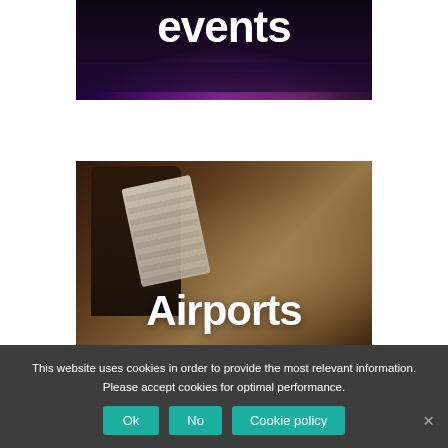[Figure (photo): Dark crowd at a concert/event with purple and pink lighting, partially visible at top of frame with 'events' text overlay]
[Figure (photo): Person holding boarding pass or document at airport check-in, warm blurred background with 'Airports' text overlay]
This website uses cookies in order to provide the most relevant information. Please accept cookies for optimal performance.
Ok  No  Cookie policy